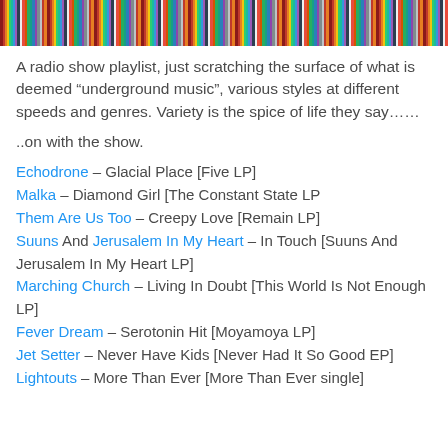[Figure (photo): A banner image showing the spines of many colourful records/books arranged side by side]
A radio show playlist, just scratching the surface of what is deemed “underground music”, various styles at different speeds and genres. Variety is the spice of life they say……
..on with the show.
Echodrone – Glacial Place [Five LP]
Malka – Diamond Girl [The Constant State LP
Them Are Us Too – Creepy Love [Remain LP]
Suuns And Jerusalem In My Heart – In Touch [Suuns And Jerusalem In My Heart LP]
Marching Church – Living In Doubt [This World Is Not Enough LP]
Fever Dream – Serotonin Hit [Moyamoya LP]
Jet Setter – Never Have Kids [Never Had It So Good EP]
Lightouts – More Than Ever [More Than Ever single]